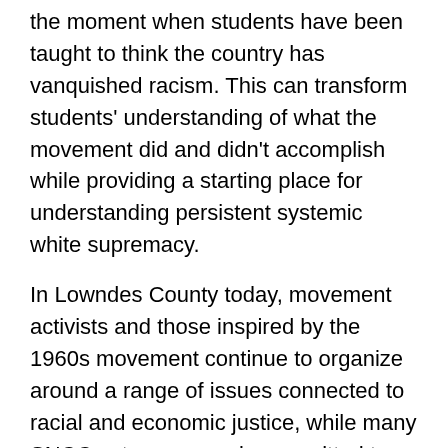the moment when students have been taught to think the country has vanquished racism. This can transform students' understanding of what the movement did and didn't accomplish while providing a starting place for understanding persistent systemic white supremacy.
In Lowndes County today, movement activists and those inspired by the 1960s movement continue to organize around a range of issues connected to racial and economic justice, while many SNCC veterans remain committed to the struggle and intensely interested in documenting and sharing their history. For example, SNCC organizers Courtland Cox and Jennifer Lawson—who developed a variety of political education materials, including "Us Colored People," which used a comic book format to teach previously disfranchised people in Lowndes about politics—were among the cofounders of the SNCC Legacy Project